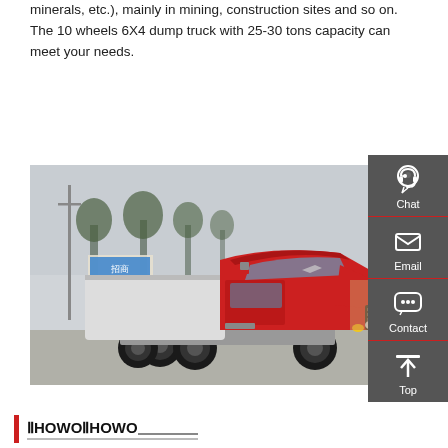minerals, etc.), mainly in mining, construction sites and so on. The 10 wheels 6X4 dump truck with 25-30 tons capacity can meet your needs.
Get a Quote
[Figure (photo): Red HOWO heavy duty truck (tractor unit) parked on a lot, front-left view showing cab, wheels, and grille. Background includes trees, utility poles, and other vehicles.]
[Figure (infographic): Sidebar with dark grey background showing Chat (headset icon), Email (envelope icon), Contact (speech bubble icon), and Top (arrow up icon) navigation buttons.]
ⅡHOWOⅡHOWO_